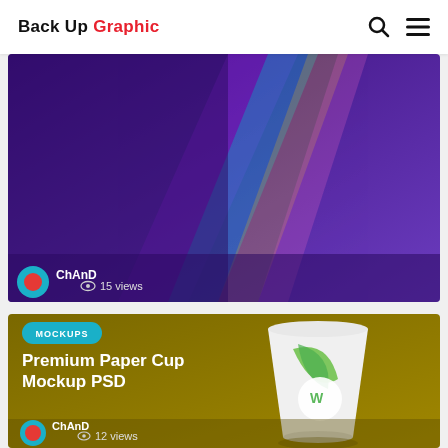Back Up Graphic
[Figure (photo): Partial card showing purple background with diagonal colorful stripes and a '15 views' meta bar with ChAnD author avatar]
ChAnD  15 views
[Figure (photo): Card with olive/dark yellow background showing a white paper cup mockup with green leaf logo and 'Warm & Flavor' branding. Badge: MOCKUPS. Title: Premium Paper Cup Mockup PSD. Author ChAnD, 12 views.]
Premium Paper Cup Mockup PSD
ChAnD  12 views